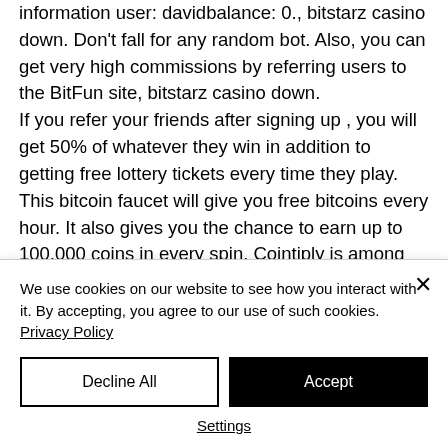information user: davidbalance: 0., bitstarz casino down. Don't fall for any random bot. Also, you can get very high commissions by referring users to the BitFun site, bitstarz casino down. If you refer your friends after signing up , you will get 50% of whatever they win in addition to getting free lottery tickets every time they play. This bitcoin faucet will give you free bitcoins every hour. It also gives you the chance to earn up to 100,000 coins in every spin. Cointiply is among the highest paying Bitcoin faucet that you will find, bitstarz
We use cookies on our website to see how you interact with it. By accepting, you agree to our use of such cookies. Privacy Policy
Decline All
Accept
Settings